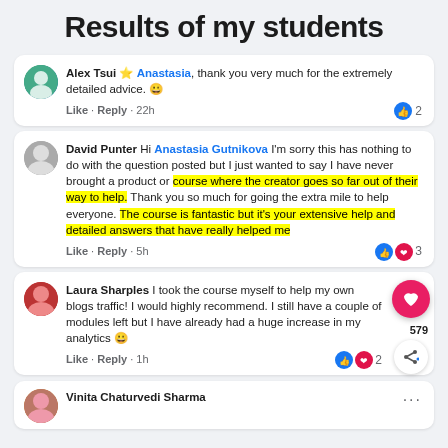Results of my students
Alex Tsui ★ Anastasia, thank you very much for the extremely detailed advice. 😀
Like · Reply · 22h  👍 2
David Punter Hi Anastasia Gutnikova I'm sorry this has nothing to do with the question posted but I just wanted to say I have never brought a product or course where the creator goes so far out of their way to help. Thank you so much for going the extra mile to help everyone. The course is fantastic but it's your extensive help and detailed answers that have really helped me
Like · Reply · 5h  👍❤️ 3
Laura Sharples I took the course myself to help my own blogs traffic! I would highly recommend. I still have a couple of modules left but I have already had a huge increase in my analytics 😀
Like · Reply · 1h  ❤️ 2  579
Vinita Chaturvedi Sharma ...